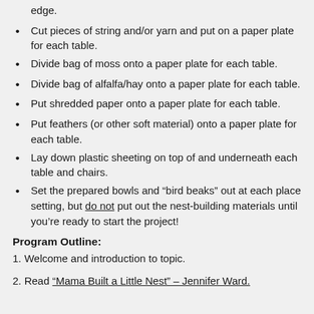edge.
Cut pieces of string and/or yarn and put on a paper plate for each table.
Divide bag of moss onto a paper plate for each table.
Divide bag of alfalfa/hay onto a paper plate for each table.
Put shredded paper onto a paper plate for each table.
Put feathers (or other soft material) onto a paper plate for each table.
Lay down plastic sheeting on top of and underneath each table and chairs.
Set the prepared bowls and “bird beaks” out at each place setting, but do not put out the nest-building materials until you’re ready to start the project!
Program Outline:
1. Welcome and introduction to topic.
2. Read “Mama Built a Little Nest” – Jennifer Ward.